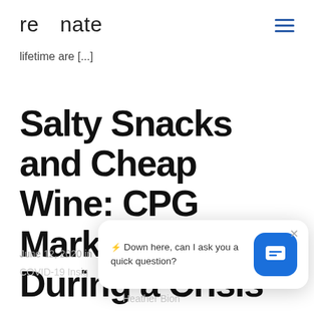resonate
lifetime are [...]
Salty Snacks and Cheap Wine: CPG Marketing During a Crisis
June 12, 2020 in
COVID-19 Insig...
Heather Bion...